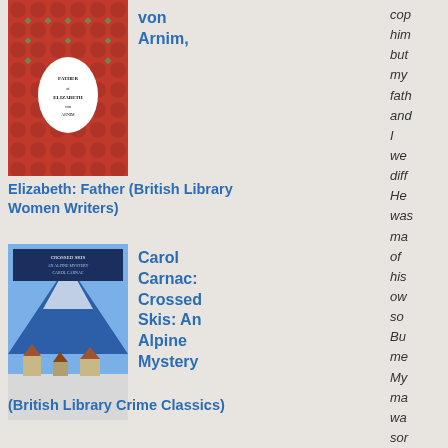[Figure (photo): Book cover for Elizabeth: Father (British Library Women Writers) by von Arnim, with red floral patterned background and white face silhouette]
von Arnim,
Elizabeth: Father (British Library Women Writers)
[Figure (photo): Book cover for Crossed Skis: An Alpine Mystery by Carol Carnac, showing blue mountain peaks and snowy village scene]
Carol Carnac: Crossed Skis: An Alpine Mystery (British Library Crime Classics)
[Figure (photo): Book cover for E.C.R. Lorac: title visible, orange/brown toned cover]
E.C.R. Lorac:
cop him but my fath and I we diff He wa ma of his ow so Bu me My ma wa sor els